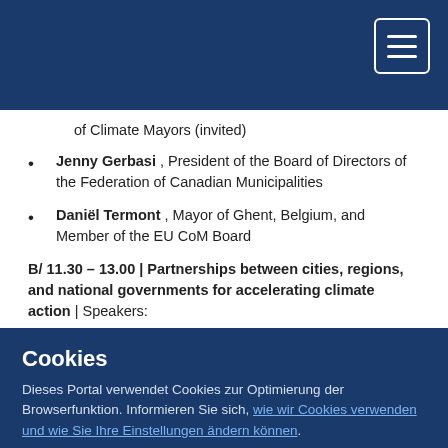Navigation header bar with hamburger menu
of Climate Mayors (invited)
Jenny Gerbasi , President of the Board of Directors of the Federation of Canadian Municipalities
Daniël Termont , Mayor of Ghent, Belgium, and Member of the EU CoM Board
B/ 11.30 – 13.00 | Partnerships between cities, regions, and national governments for accelerating climate action | Speakers:
Introduced and moderated by Ailio Eero, European
Cookies
Dieses Portal verwendet Cookies zur Optimierung der Browserfunktion. Informieren Sie sich, wie wir Cookies verwenden und wie Sie Ihre Einstellungen ändern können.
Cookies akzeptieren | Cookies ablehnen